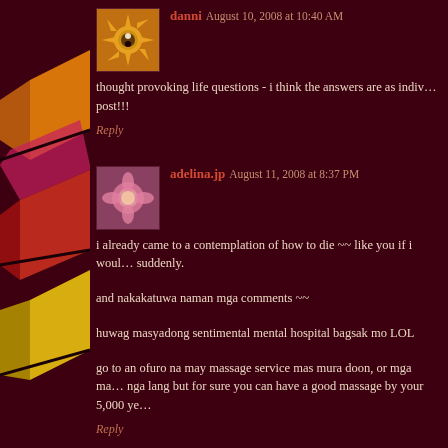[Figure (photo): Avatar icon for user danni - sun/yin-yang decorative icon on orange background]
danni August 10, 2008 at 10:40 AM
thought provoking life questions - i think the answers are as indiv... post!!!
Reply
[Figure (photo): Avatar image for user adelina.jp - pink flower photo]
adelina.jp August 11, 2008 at 8:37 PM
i already came to a contemplation of how to die ~~ like you if i woul... suddenly.
and nakakatuwa naman mga comments ~~
huwag masyadong sentimental mental hospital bagsak mo LOL
go to an ofuro na may massage service mas mura doon, or mga ma... nga lang but for sure you can have a good massage by your 5,000 ye...
Reply
[Figure (photo): Avatar photo for user meowiefotografie - person's face photo]
meowiefotografie August 12, 2008 at 8:29 AM
oist! nugay na da gani no..emote emote ka pa da..ahehehe...hindi ika...